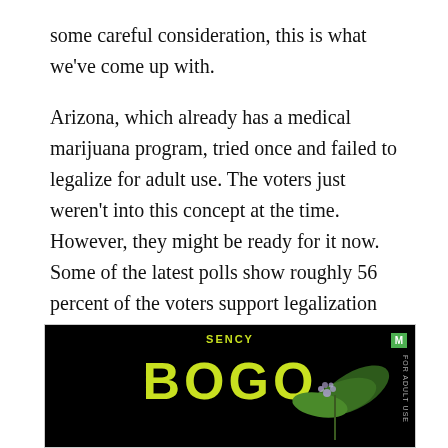some careful consideration, this is what we've come up with.
Arizona, which already has a medical marijuana program, tried once and failed to legalize for adult use. The voters just weren't into this concept at the time. However, they might be ready for it now. Some of the latest polls show roughly 56 percent of the voters support legalization this time around. If we had to pick one state with the best chance, Arizona would be ranked in the top three.
[Figure (other): Advertisement banner with dark background showing 'sency BOGO' text in bright yellow-green, plant leaves on the right, an M badge in green top right, and 'FOR ADULT USE' text vertically on far right.]